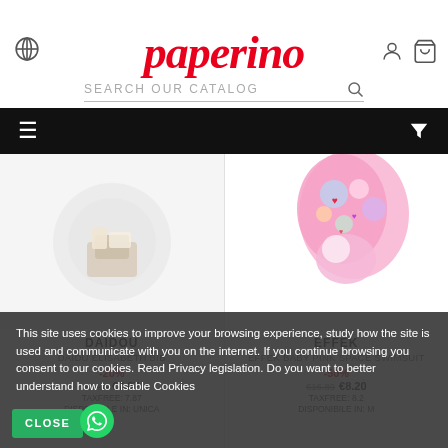[Figure (logo): Paperino logo in red italic script font]
SEARCH OUR CATALOG
[Figure (screenshot): E-commerce product listing page with two products: DAIDOU - DAIDU ELISABETH BIB and EFFEK - EFFEK BABY PINK SPACE SWIMSUIT, with prices and discount badges, and a cookie consent overlay]
DAIDOU
DAIDU ELISABETH BIB
-20%
€9.84 €7.87
TAXFREE: 7.87
DISPONIBILE IN: UNICA
EFFEK
EFFEK BABY PINK SPACE SWIMSUIT
-50%
€16.89 €8.20
TAXFREE: 8.2
DISPONIBILE IN: M
This site uses cookies to improve your browsing experience, study how the site is used and communicate with you on the internet. If you continue browsing you consent to our cookies. Read Privacy legislation. Do you want to better understand how to disable Cookies
CLOSE